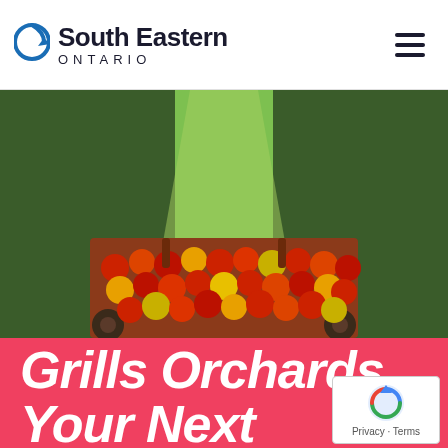South Eastern ONTARIO
[Figure (photo): Aerial view down an apple orchard row with a wagon full of freshly picked red and yellow apples in the foreground, green grass path between tree rows.]
Grills Orchards Your Next